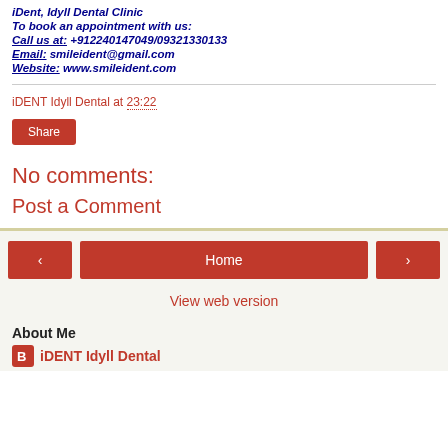iDent, Idyll Dental Clinic
To book an appointment with us:
Call us at: +912240147049/09321330133
Email: smileident@gmail.com
Website: www.smileident.com
iDENT Idyll Dental at 23:22
Share
No comments:
Post a Comment
Home
View web version
About Me
iDENT Idyll Dental